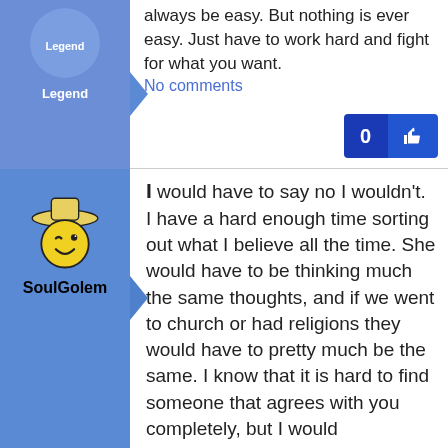always be easy. But nothing is ever easy. Just have to work hard and fight for what you want.
No comments
[Figure (other): Like button group showing count 0 and thumbs up icon]
[Figure (illustration): Avatar icon for user SoulGolem - winking smiley face with hat]
SoulGolem
I would have to say no I wouldn't. I have a hard enough time sorting out what I believe all the time. She would have to be thinking much the same thoughts, and if we went to church or had religions they would have to pretty much be the same. I know that it is hard to find someone that agrees with you completely, but I would